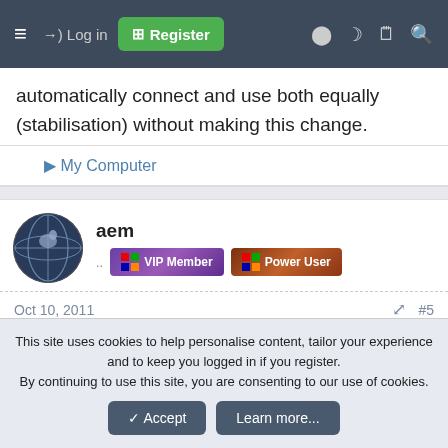≡  →) Log in  Register
automatically connect and use both equally (stabilisation) without making this change.
▶ My Computer
[Figure (other): User avatar showing a globe/world icon with horse figure, circular photo]
aem
.. VIP Member  Power User
Oct 10, 2011  #5
My wifi picks up neighbour's SSIDs but i don't have the password to connect 😊
This site uses cookies to help personalise content, tailor your experience and to keep you logged in if you register.
By continuing to use this site, you are consenting to our use of cookies.
✓ Accept   Learn more...